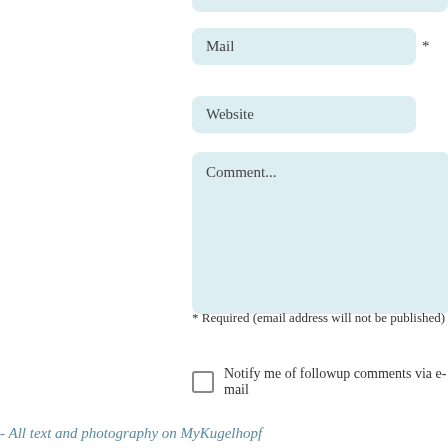[Figure (screenshot): Web form input field labeled 'Mail' with a required asterisk marker, partially shown at top]
[Figure (screenshot): Web form input field labeled 'Website']
[Figure (screenshot): Web form textarea labeled 'Comment...']
* Required (email address will not be published)
[Figure (screenshot): Checkbox with label 'Notify me of followup comments via e-mail']
- All text and photography on MyKugelhopf